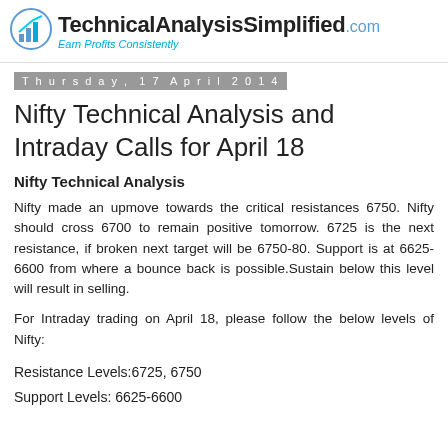TechnicalAnalysisSimplified.com — Earn Profits Consistently
Thursday, 17 April 2014
Nifty Technical Analysis and Intraday Calls for April 18
Nifty Technical Analysis
Nifty made an upmove towards the critical resistances 6750. Nifty should cross 6700 to remain positive tomorrow. 6725 is the next resistance, if broken next target will be 6750-80. Support is at 6625-6600 from where a bounce back is possible.Sustain below this level will result in selling.
For Intraday trading on April 18, please follow the below levels of Nifty:
Resistance Levels:6725, 6750
Support Levels: 6625-6600